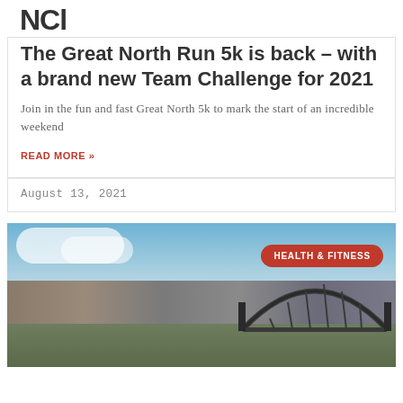NCl
The Great North Run 5k is back – with a brand new Team Challenge for 2021
Join in the fun and fast Great North 5k to mark the start of an incredible weekend
READ MORE »
August 13, 2021
[Figure (photo): Aerial view of Newcastle cityscape with the Tyne Bridge arch visible on the right, river and buildings below, blue sky with clouds above. A red pill-shaped badge reads HEALTH & FITNESS.]